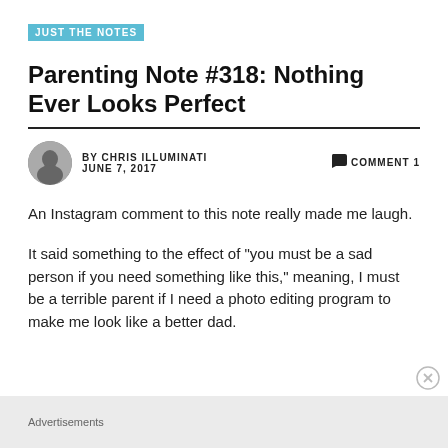JUST THE NOTES
Parenting Note #318: Nothing Ever Looks Perfect
BY CHRIS ILLUMINATI   COMMENT 1
JUNE 7, 2017
An Instagram comment to this note really made me laugh.
It said something to the effect of "you must be a sad person if you need something like this," meaning, I must be a terrible parent if I need a photo editing program to make me look like a better dad.
Advertisements